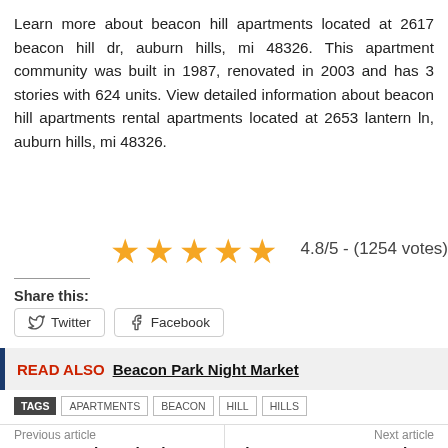Learn more about beacon hill apartments located at 2617 beacon hill dr, auburn hills, mi 48326. This apartment community was built in 1987, renovated in 2003 and has 3 stories with 624 units. View detailed information about beacon hill apartments rental apartments located at 2653 lantern ln, auburn hills, mi 48326.
[Figure (other): 5 orange/gold star rating icons followed by text '4.8/5 - (1254 votes)']
Share this:
Twitter  Facebook
READ ALSO  Beacon Park Night Market
TAGS  APARTMENTS  BEACON  HILL  HILLS
Previous article
Beacon Point Lakeview Ar
Next article
The Beacon San Francisco Rental